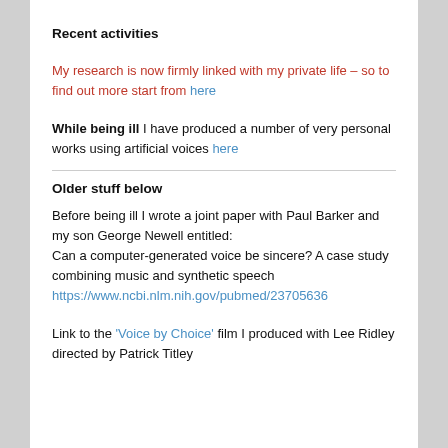Recent activities
My research is now firmly linked with my private life – so to find out more start from here
While being ill I have produced a number of very personal works using artificial voices here
Older stuff below
Before being ill I wrote a joint paper with Paul Barker and my son George Newell entitled:
Can a computer-generated voice be sincere? A case study combining music and synthetic speech https://www.ncbi.nlm.nih.gov/pubmed/23705636
Link to the 'Voice by Choice' film I produced with Lee Ridley directed by Patrick Titley